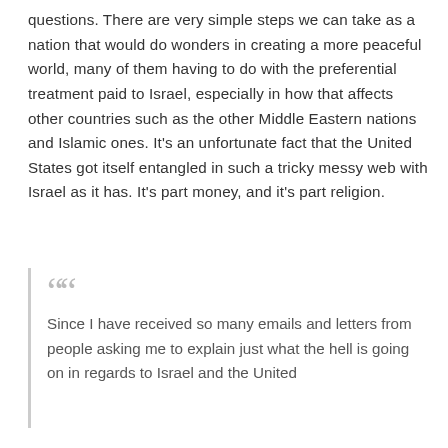questions. There are very simple steps we can take as a nation that would do wonders in creating a more peaceful world, many of them having to do with the preferential treatment paid to Israel, especially in how that affects other countries such as the other Middle Eastern nations and Islamic ones. It's an unfortunate fact that the United States got itself entangled in such a tricky messy web with Israel as it has. It's part money, and it's part religion.
Since I have received so many emails and letters from people asking me to explain just what the hell is going on in regards to Israel and the United